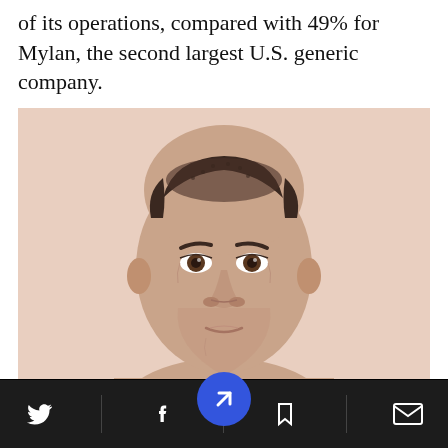of its operations, compared with 49% for Mylan, the second largest U.S. generic company.
[Figure (photo): Close-up portrait photo of a middle-aged man with short dark hair, slight thinning at the top, dark eyes, against a light beige/peach background.]
Navigation bar with Twitter, Facebook, news/arrow button, bookmark, and email icons